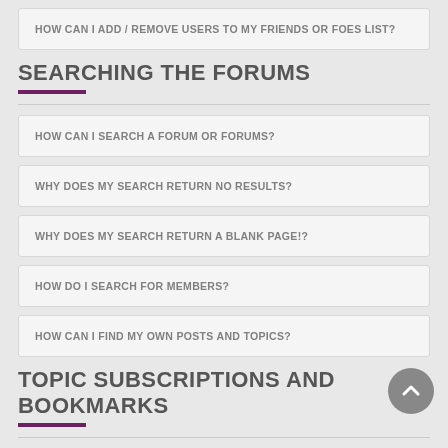HOW CAN I ADD / REMOVE USERS TO MY FRIENDS OR FOES LIST?
SEARCHING THE FORUMS
HOW CAN I SEARCH A FORUM OR FORUMS?
WHY DOES MY SEARCH RETURN NO RESULTS?
WHY DOES MY SEARCH RETURN A BLANK PAGE!?
HOW DO I SEARCH FOR MEMBERS?
HOW CAN I FIND MY OWN POSTS AND TOPICS?
TOPIC SUBSCRIPTIONS AND BOOKMARKS
WHAT IS THE DIFFERENCE BETWEEN BOOKMARKING AND SUBSCRIBING?
HOW DO I SUBSCRIBE TO SPECIFIC FORUMS OR TOPICS?